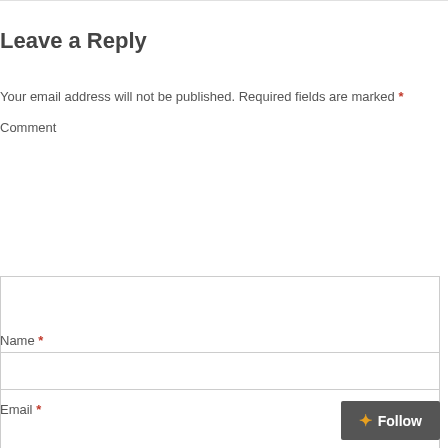Leave a Reply
Your email address will not be published. Required fields are marked *
Comment
Name *
Email *